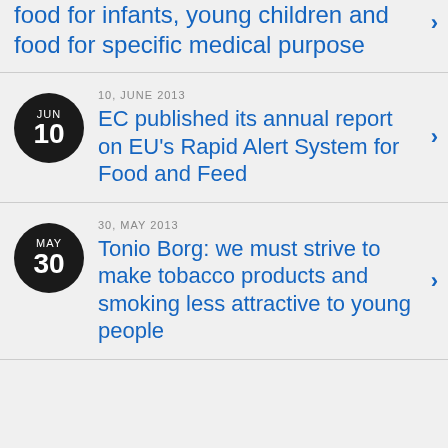food for infants, young children and food for specific medical purpose
10, JUNE 2013
EC published its annual report on EU's Rapid Alert System for Food and Feed
30, MAY 2013
Tonio Borg: we must strive to make tobacco products and smoking less attractive to young people